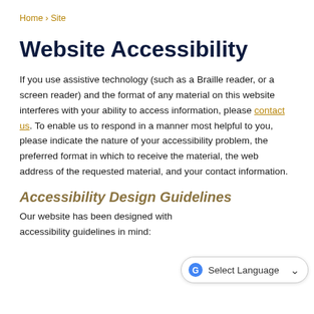Home › Site
Website Accessibility
If you use assistive technology (such as a Braille reader, or a screen reader) and the format of any material on this website interferes with your ability to access information, please contact us. To enable us to respond in a manner most helpful to you, please indicate the nature of your accessibility problem, the preferred format in which to receive the material, the web address of the requested material, and your contact information.
Accessibility Design Guidelines
Our website has been designed with accessibility guidelines in mind:
[Figure (screenshot): Google Translate 'Select Language' widget overlay in bottom right corner]